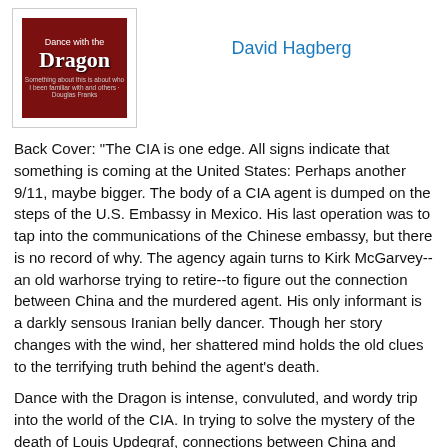[Figure (illustration): Book cover for 'Dance with the Dragon' showing title text on a dark red background]
David Hagberg
Back Cover: "The CIA is one edge. All signs indicate that something is coming at the United States: Perhaps another 9/11, maybe bigger. The body of a CIA agent is dumped on the steps of the U.S. Embassy in Mexico. His last operation was to tap into the communications of the Chinese embassy, but there is no record of why. The agency again turns to Kirk McGarvey--an old warhorse trying to retire--to figure out the connection between China and the murdered agent. His only informant is a darkly sensous Iranian belly dancer. Though her story changes with the wind, her shattered mind holds the old clues to the terrifying truth behind the agent's death.
Dance with the Dragon is intense, convuluted, and wordy trip into the world of the CIA. In trying to solve the mystery of the death of Louis Updegraf, connections between China and Mexico are discovered. Are the Iranians involved as well? Are they planning something against the United States. Are weapons or drugs involved or is all of this just the personal